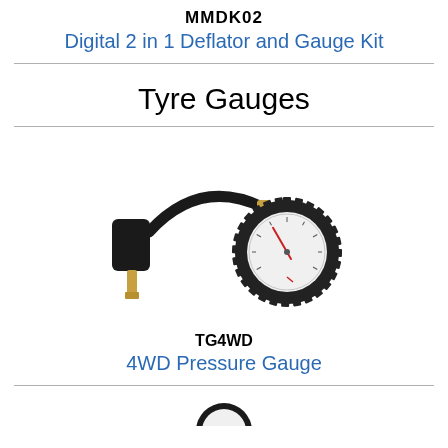MMDK02
Digital 2 in 1 Deflator and Gauge Kit
Tyre Gauges
[Figure (photo): Photo of a TG4WD 4WD tyre pressure gauge with black hose connector on the left and circular analog gauge with serrated bezel on the right]
TG4WD
4WD Pressure Gauge
[Figure (photo): Partial image of another product at the bottom of the page]